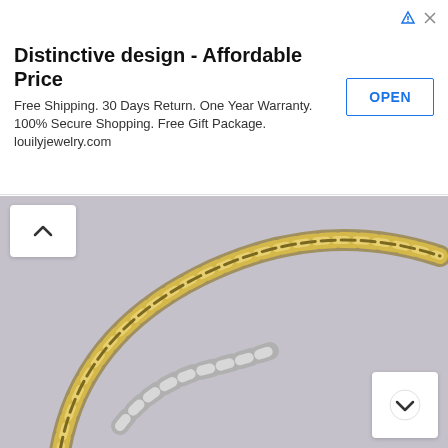[Figure (screenshot): Advertisement banner: 'Distinctive design - Affordable Price' with OPEN button, ad icons, and jewelry website text]
[Figure (photo): Close-up photo of a gold metallic beaded bracelet arranged in a circular arc on a light gray/purple background]
[Figure (photo): Close-up photo of a bracelet with teal/mint and gold square beads on a brown leather/cord strap, on a gray background]